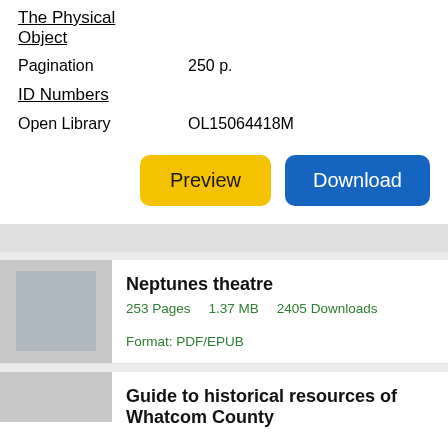The Physical Object
Pagination    250 p.
ID Numbers
Open Library    OL15064418M
Preview   Download
Neptunes theatre
253 Pages    1.37 MB    2405 Downloads    Format: PDF/EPUB
Guide to historical resources of Whatcom County